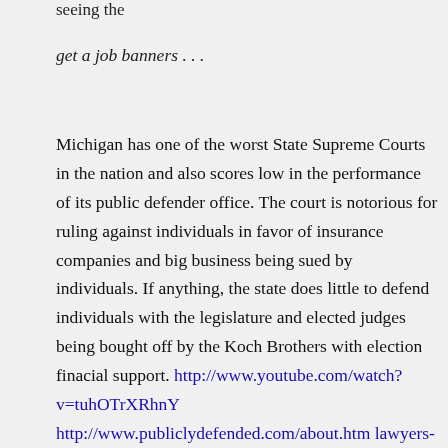seeing the
get a job banners . . .
Michigan has one of the worst State Supreme Courts in the nation and also scores low in the performance of its public defender office. The court is notorious for ruling against individuals in favor of insurance companies and big business being sued by individuals. If anything, the state does little to defend individuals with the legislature and elected judges being bought off by the Koch Brothers with election finacial support. http://www.youtube.com/watch?v=tuhOTrXRhnY http://www.publiclydefended.com/about.htm lawyers-blog/2008/11/11/the-38-worst-judicial-travesties-of-the-michigan-supreme-court/